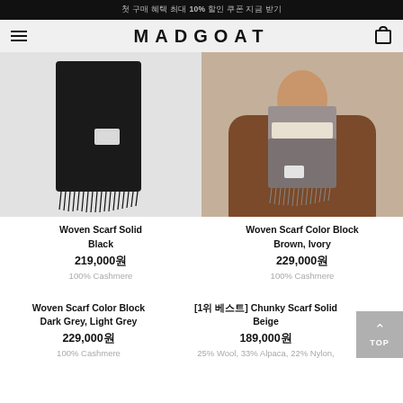첫 구매 혜택 최대 10% 할인 쿠폰 지금 받기
[Figure (screenshot): MADGOAT brand navigation bar with hamburger menu and bag icon]
[Figure (photo): Black woven scarf product photo on light grey background]
[Figure (photo): Person wearing brown coat with color block scarf in brown and ivory]
Woven Scarf Solid Black
219,000원
100% Cashmere
Woven Scarf Color Block Brown, Ivory
229,000원
100% Cashmere
Woven Scarf Color Block Dark Grey, Light Grey
229,000원
100% Cashmere
[1위 베스트] Chunky Scarf Solid Beige
189,000원
25% Wool, 33% Alpaca, 22% Nylon,